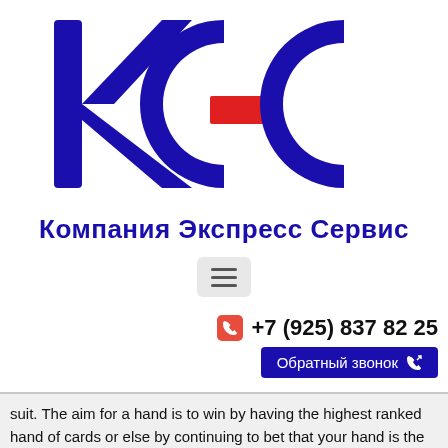[Figure (logo): КЭС logo - large Cyrillic letters K, E, C in dark navy blue with a red rectangle accent on the E letter]
Компания Экспресс Сервис
[Figure (other): Hamburger menu button with three horizontal lines on a light grey rounded square background]
+7 (925) 837 82 25
Обратный звонок
suit. The aim for a hand is to win by having the highest ranked hand of cards or else by continuing to bet that your hand is the highest until all the other players drop out. 6+ hold'em is a popular 'short deck' poker format that plays much like texas hold'em, but with a